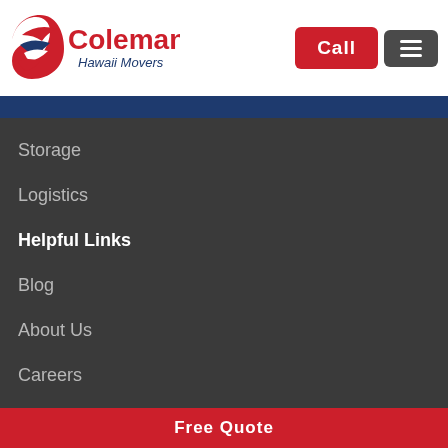[Figure (logo): Coleman Hawaii Movers logo with eagle/wave graphic and text]
Storage
Logistics
Helpful Links
Blog
About Us
Careers
Contact Us
Customer Reviews
Free Quote